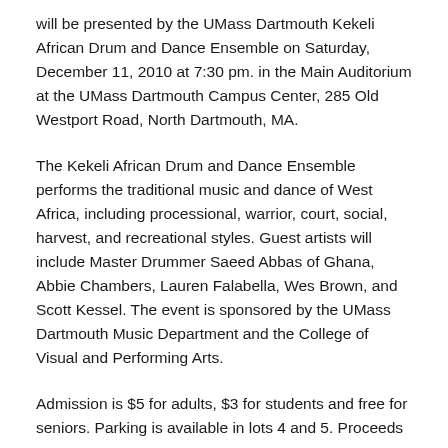will be presented by the UMass Dartmouth Kekeli African Drum and Dance Ensemble on Saturday, December 11, 2010 at 7:30 pm. in the Main Auditorium at the UMass Dartmouth Campus Center, 285 Old Westport Road, North Dartmouth, MA.
The Kekeli African Drum and Dance Ensemble performs the traditional music and dance of West Africa, including processional, warrior, court, social, harvest, and recreational styles. Guest artists will include Master Drummer Saeed Abbas of Ghana, Abbie Chambers, Lauren Falabella, Wes Brown, and Scott Kessel. The event is sponsored by the UMass Dartmouth Music Department and the College of Visual and Performing Arts.
Admission is $5 for adults, $3 for students and free for seniors. Parking is available in lots 4 and 5. Proceeds